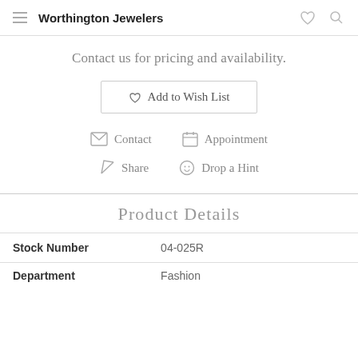Worthington Jewelers
Contact us for pricing and availability.
♡ Add to Wish List
✉ Contact   📅 Appointment
➤ Share   ☺ Drop a Hint
Product Details
| Stock Number | 04-025R |
| --- | --- |
| Department | Fashion |